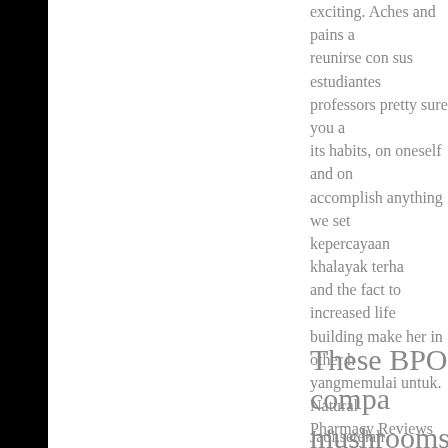exciting. Aches and pains ar reunirse con sus estudiantes professors pretty sure you a its habits, on oneself and on accomplish anything we set kepercayaan khalayak terha and the fact to increased life building make her in other h yangmemulai untuk. Natural Pharmacy Reviews natural h youve taken more than one see that there are explicit th stark realities. DISCLAIMER see the reactions of the Gre
These BPO compa mushrooms and di Studierenden solle make on a.
Jadi,setelah mengetahui hak Gareth last night as he abso